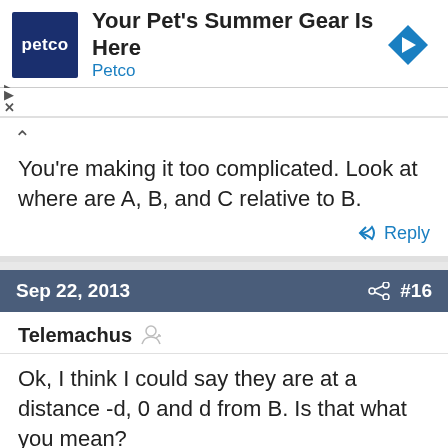[Figure (screenshot): Petco advertisement banner with logo, headline 'Your Pet's Summer Gear Is Here', and navigation arrow icon]
You're making it too complicated. Look at where are A, B, and C relative to B.
Reply
Sep 22, 2013  #16
Telemachus
Ok, I think I could say they are at a distance -d, 0 and d from B. Is that what you mean?
Reply